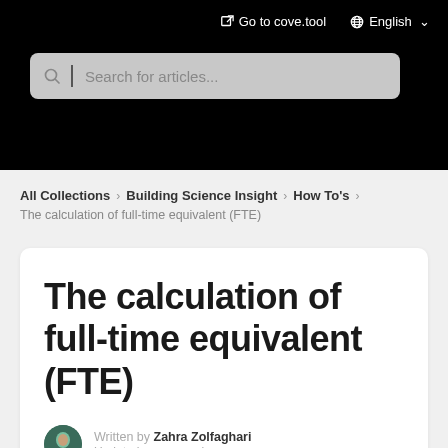Go to cove.tool   English
Search for articles...
All Collections > Building Science Insight > How To's
The calculation of full-time equivalent (FTE)
The calculation of full-time equivalent (FTE)
Written by Zahra Zolfaghari
Updated over a week ago